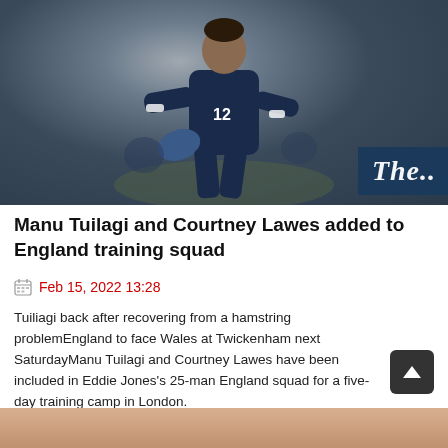[Figure (photo): Rugby player wearing a dark navy jersey with number 12, holding a ball, appearing to be warming up or training. The Guardian newspaper logo is visible in the bottom right corner of the image.]
Manu Tuilagi and Courtney Lawes added to England training squad
Feb 15, 2022 13:28
Tuiliagi back after recovering from a hamstring problemEngland to face Wales at Twickenham next SaturdayManu Tuilagi and Courtney Lawes have been included in Eddie Jones's 25-man England squad for a five-day training camp in London.
[Figure (photo): Partial view of another rugby-related photo at the bottom of the page.]